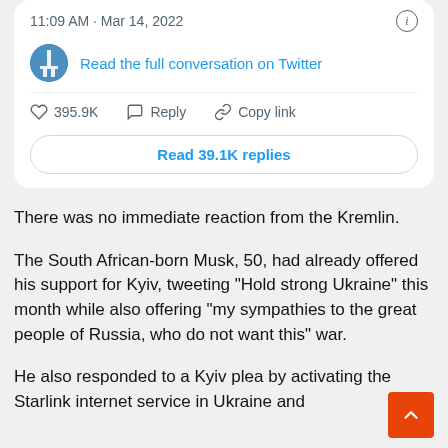[Figure (screenshot): Twitter/X embedded tweet card showing timestamp 11:09 AM · Mar 14, 2022 with info icon, profile avatar, 'Read the full conversation on Twitter' link, action row with 395.9K likes, Reply, Copy link, and a 'Read 39.1K replies' button]
There was no immediate reaction from the Kremlin.
The South African-born Musk, 50, had already offered his support for Kyiv, tweeting "Hold strong Ukraine" this month while also offering "my sympathies to the great people of Russia, who do not want this" war.
He also responded to a Kyiv plea by activating the Starlink internet service in Ukraine and